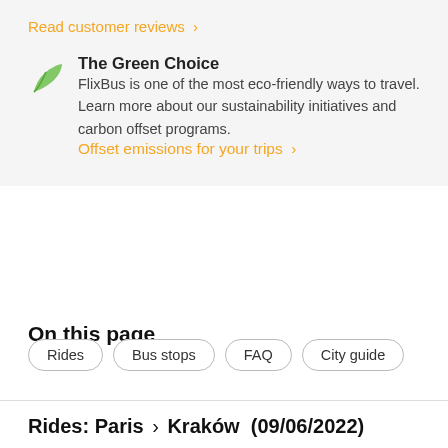Read customer reviews >
The Green Choice
FlixBus is one of the most eco-friendly ways to travel. Learn more about our sustainability initiatives and carbon offset programs.
Offset emissions for your trips >
On this page
Rides
Bus stops
FAQ
City guide
Rides: Paris > Kraków  (09/06/2022)